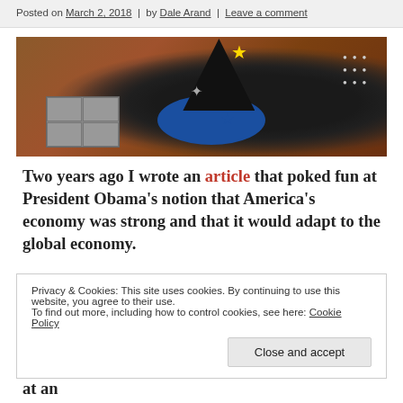Posted on March 2, 2018  |  by Dale Arand  |  Leave a comment
[Figure (photo): Overhead photo of a black wizard/graduation hat with gold star on top, sitting on blue satin fabric, with silver and blue star decorations, next to a grey cash box with coins and bills, scattered coins on a wooden table surface.]
Two years ago I wrote an article that poked fun at President Obama’s notion that America’s economy was strong and that it would adapt to the global economy.
Privacy & Cookies: This site uses cookies. By continuing to use this website, you agree to their use.
To find out more, including how to control cookies, see here: Cookie Policy
money now than ever before. Government debt is at an